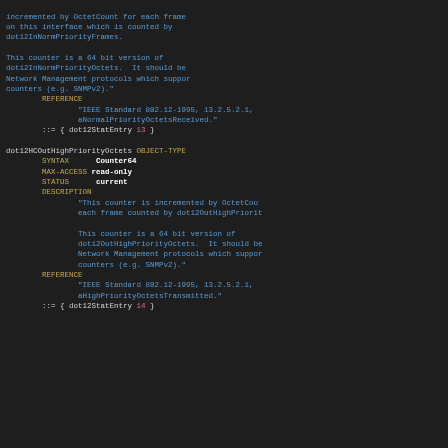MIB definition code block showing dot12HCOutHighPriorityOctets OBJECT-TYPE definition
incremented by OctetCount for each frame on this interface which is counted by dot12InNormPriorityFrames. This counter is a 64 bit version of dot12InNormPriorityOctets. It should be Network Management protocols which support counters (e.g. SNMPv2). REFERENCE IEEE Standard 802.12-1995, 13.2.5.2.1, aNormalPriorityOctetsReceived. ::= { dot12StatEntry 13 }
dot12HCOutHighPriorityOctets OBJECT-TYPE SYNTAX Counter64 MAX-ACCESS read-only STATUS current DESCRIPTION This counter is incremented by OctetCount each frame counted by dot12OutHighPriority This counter is a 64 bit version of dot12OutHighPriorityOctets. It should be Network Management protocols which support counters (e.g. SNMPv2). REFERENCE IEEE Standard 802.12-1995, 13.2.5.2.1, aHighPriorityOctetsTransmitted. ::= { dot12StatEntry 14 }